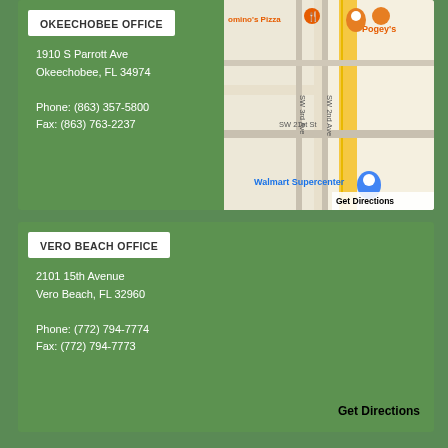OKEECHOBEE OFFICE
1910 S Parrott Ave
Okeechobee, FL 34974

Phone: (863) 357-5800
Fax: (863) 763-2237
[Figure (map): Google Maps screenshot showing area near 1910 S Parrott Ave, Okeechobee FL, with Domino's Pizza, Pogey's, SW 3rd Ave, SW 2nd Ave, SW 21st St, and Walmart Supercenter visible. Orange map pin shown. 'Get Directions' link overlay.]
VERO BEACH OFFICE
2101 15th Avenue
Vero Beach, FL 32960

Phone: (772) 794-7774
Fax: (772) 794-7773
Get Directions